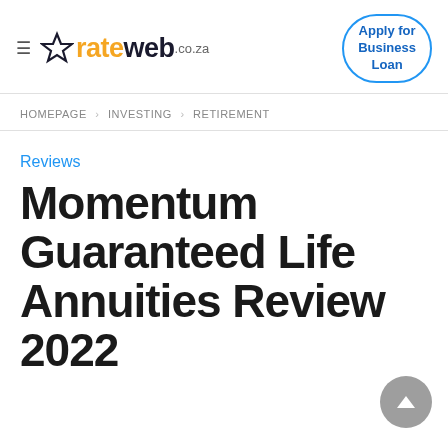≡ ☆ rateweb.co.za | Apply for Business Loan
HOMEPAGE > INVESTING > RETIREMENT
Reviews
Momentum Guaranteed Life Annuities Review 2022